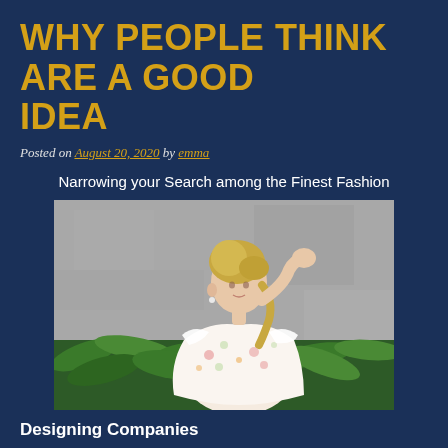WHY PEOPLE THINK ARE A GOOD IDEA
Posted on August 20, 2020 by emma
Narrowing your Search among the Finest Fashion
[Figure (photo): A blonde woman in a white floral off-shoulder dress posing in front of a concrete wall with tropical plants in the background]
Designing Companies